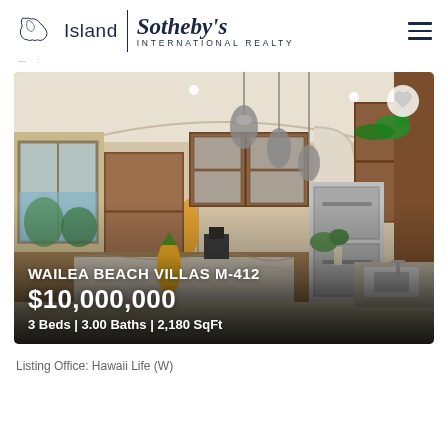Island Sotheby's International Realty
[Figure (photo): Interior photo of luxury kitchen with wood cabinetry, marble island, pendant lights, stainless appliances, arched niche with decorative items, and ocean view window. Overlaid text shows property name, price, and details.]
WAILEA BEACH VILLAS M-412
$10,000,000
3 Beds | 3.00 Baths | 2,180 SqFt
Listing Office: Hawaii Life (W)